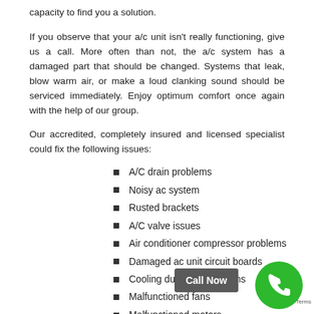capacity to find you a solution.
If you observe that your a/c unit isn’t really functioning, give us a call. More often than not, the a/c system has a damaged part that should be changed. Systems that leak, blow warm air, or make a loud clanking sound should be serviced immediately. Enjoy optimum comfort once again with the help of our group.
Our accredited, completely insured and licensed specialist could fix the following issues:
A/C drain problems
Noisy ac system
Rusted brackets
A/C valve issues
Air conditioner compressor problems
Damaged ac unit circuit boards
Cooling ductwork problems
Malfunctioned fans
Malfunctioned motors